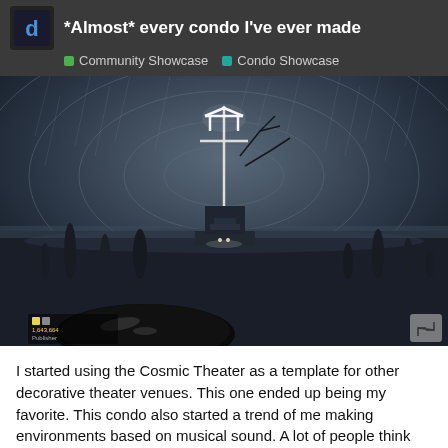*Almost* every condo I've ever made — Community Showcase · Condo Showcase
[Figure (screenshot): Dark atmospheric 3D game screenshot showing a surreal moonlit beach scene with standing stones, a ship-like structure with a glowing cross/ship-mast symbol overhead, vinyl record in the foreground, rain and sweeping sky, in black and white tones.]
I started using the Cosmic Theater as a template for other decorative theater venues. This one ended up being my favorite. This condo also started a trend of me making environments based on musical sound. A lot of people think this looks like a metal album, but the inspiration was more from darkstep drum & bass.